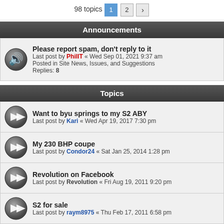98 topics · Page 1 2 >
Announcements
Please report spam, don't reply to it
Last post by PhilIT « Wed Sep 01, 2021 9:37 am
Posted in Site News, Issues, and Suggestions
Replies: 8
Topics
Want to byu springs to my S2 ABY
Last post by Kari « Wed Apr 19, 2017 7:30 pm
My 230 BHP coupe
Last post by Condor24 « Sat Jan 25, 2014 1:28 pm
Revolution on Facebook
Last post by Revolution « Fri Aug 19, 2011 9:20 pm
S2 for sale
Last post by raym8975 « Thu Feb 17, 2011 6:58 pm
s2 designation.
Last post by chiefmechanic « Tue Feb 15, 2011 4:54 pm
Crash At Brands
Last post by Revolution « Fri Jun 25, 2010 11:52 am
S2 MPG
Last post by irvind « Wed Jun 02, 2010 12:22 pm